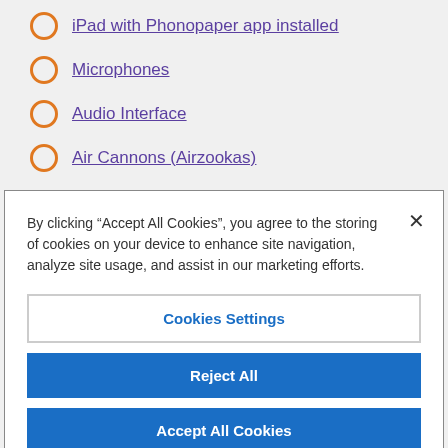iPad with Phonopaper app installed
Microphones
Audio Interface
Air Cannons (Airzookas)
Bat Detector, which can detect small sounds
By clicking “Accept All Cookies”, you agree to the storing of cookies on your device to enhance site navigation, analyze site usage, and assist in our marketing efforts.
Cookies Settings
Reject All
Accept All Cookies